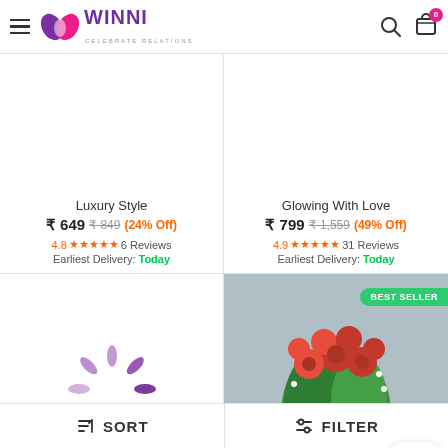WINNI - CELEBRATE RELATIONS
Luxury Style
₹ 649  ₹ 849  (24% Off)
4.8★★★★★ 6 Reviews
Earliest Delivery: Today
Glowing With Love
₹ 799  ₹ 1,559  (49% Off)
4.9★★★★★ 31 Reviews
Earliest Delivery: Today
[Figure (other): Loading spinner animation (purple dashes in circular pattern)]
[Figure (photo): Red rose bouquet with white wrapping paper and green foliage, with BEST SELLER badge and chat bubble icon overlay]
SORT   FILTER